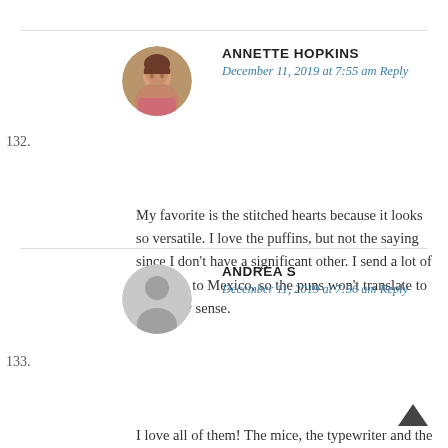132. ANNETTE HOPKINS — December 11, 2019 at 7:55 am Reply — My favorite is the stitched hearts because it looks so versatile. I love the puffins, but not the saying since I don't have a significant other. I send a lot of my cards to Mexico, so the puns won't translate to make any sense.
133. ANDREA S — December 11, 2019 at 7:56 am Reply — I love all of them! The mice, the typewriter and the sentiments are amazing!